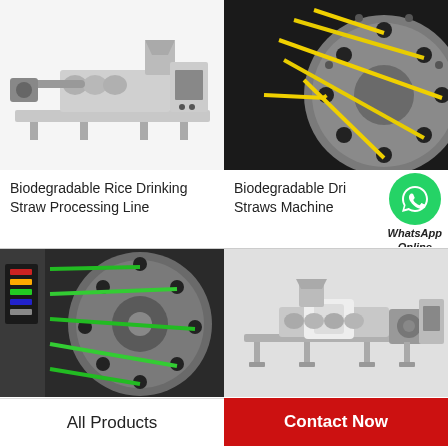[Figure (photo): Stainless steel biodegradable rice drinking straw processing line machine with extrusion barrel and control cabinet]
[Figure (photo): Close-up of round metal die head with yellow biodegradable drinking straws being extruded through multiple holes]
Biodegradable Rice Drinking Straw Processing Line
Biodegradable Drinking Straws Machine
[Figure (infographic): WhatsApp Online badge with green circle phone icon and italic text 'WhatsApp Online']
[Figure (photo): Close-up of round metal die head with green biodegradable drinking straws being extruded through multiple holes, control panel visible on left]
[Figure (photo): Stainless steel biodegradable straw extrusion machine with motor and control cabinet on white background]
All Products
Contact Now